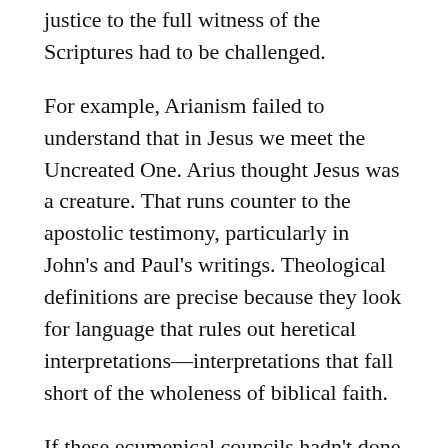justice to the full witness of the Scriptures had to be challenged.
For example, Arianism failed to understand that in Jesus we meet the Uncreated One. Arius thought Jesus was a creature. That runs counter to the apostolic testimony, particularly in John’s and Paul’s writings. Theological definitions are precise because they look for language that rules out heretical interpretations—interpretations that fall short of the wholeness of biblical faith.
If these ecumenical councils hadn’t done the hard labor of working out the precise language, we would have had, not less, but